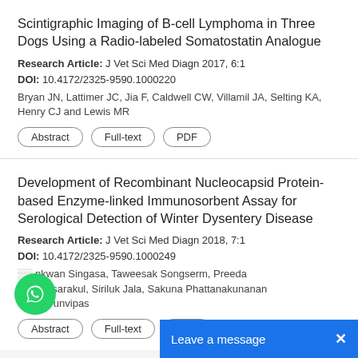Scintigraphic Imaging of B-cell Lymphoma in Three Dogs Using a Radio-labeled Somatostatin Analogue
Research Article: J Vet Sci Med Diagn 2017, 6:1
DOI: 10.4172/2325-9590.1000220
Bryan JN, Lattimer JC, Jia F, Caldwell CW, Villamil JA, Selting KA, Henry CJ and Lewis MR
Abstract
Full-text
PDF
Development of Recombinant Nucleocapsid Protein-based Enzyme-linked Immunosorbent Assay for Serological Detection of Winter Dysentery Disease
Research Article: J Vet Sci Med Diagn 2018, 7:1
DOI: 10.4172/2325-9590.1000249
Nkwan Singasa, Taweesak Songserm, Preeda Atcharasarakul, Siriluk Jala, Sakuna Phattanakunanan, Apat Arunvipas
Abstract
Full-text
PDF